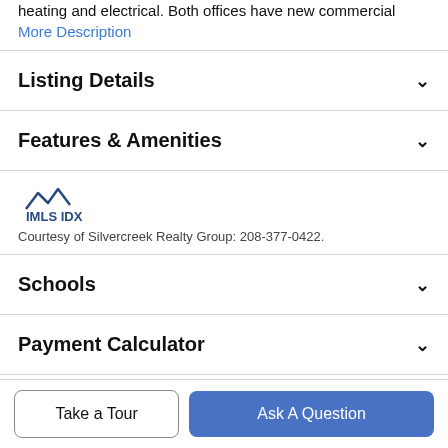heating and electrical. Both offices have new commercial
More Description
Listing Details
Features & Amenities
[Figure (logo): IMLS IDX logo with mountain peaks graphic]
Courtesy of Silvercreek Realty Group: 208-377-0422.
Schools
Payment Calculator
Take a Tour
Ask A Question